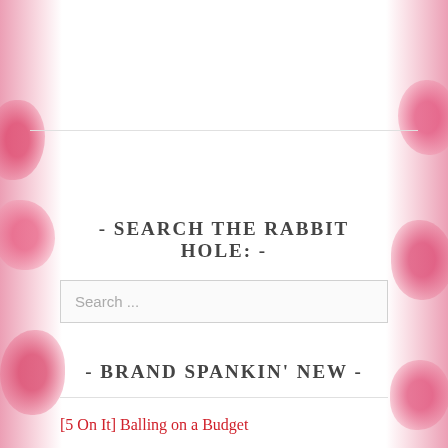- SEARCH THE RABBIT HOLE: -
Search ...
- BRAND SPANKIN' NEW -
[5 On It] Balling on a Budget